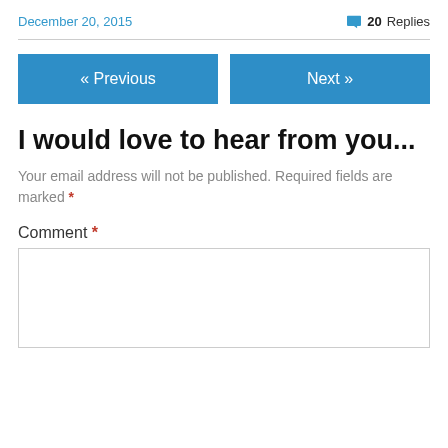December 20, 2015   💬 20 Replies
I would love to hear from you...
Your email address will not be published. Required fields are marked *
Comment *